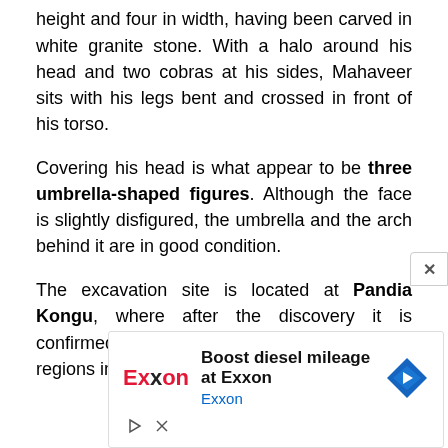height and four in width, having been carved in white granite stone. With a halo around his head and two cobras at his sides, Mahaveer sits with his legs bent and crossed in front of his torso.
Covering his head is what appear to be three umbrella-shaped figures. Although the face is slightly disfigured, the umbrella and the arch behind it are in good condition.
The excavation site is located at Pandia Kongu, where after the discovery it is confirmed that Jainism flourished in these regions in times past.
[Figure (screenshot): Advertisement banner for Exxon: 'Boost diesel mileage at Exxon' with Exxon logo in red and black, blue Exxon text link, and a blue diamond navigation icon.]